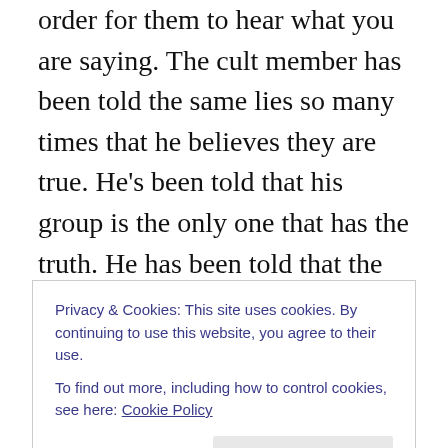order for them to hear what you are saying. The cult member has been told the same lies so many times that he believes they are true. He's been told that his group is the only one that has the truth. He has been told that the world considers his group a cult. He has been told that disciples of Jesus had to undergo the same persecution he does. You are talking to a person that thinks they are right.

The biggest weapon you've got is the word of God. It punches holes in every cult argument. The Bible is the only offensive weapon listed in the whole armour of God in
Privacy & Cookies: This site uses cookies. By continuing to use this website, you agree to their use.
To find out more, including how to control cookies, see here: Cookie Policy
Bible. This is personal experience. Dear reader, I'm not